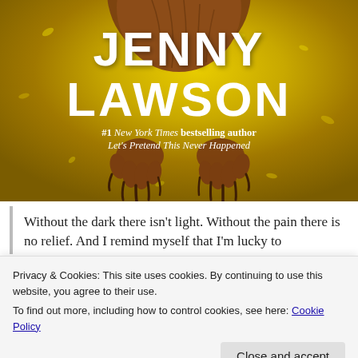[Figure (photo): Book cover showing author name JENNY LAWSON in large white bold text over a golden background with furry animal claws, subtitle '#1 New York Times bestselling author Let's Pretend This Never Happened']
Without the dark there isn't light. Without the pain there is no relief. And I remind myself that I'm lucky to
Privacy & Cookies: This site uses cookies. By continuing to use this website, you agree to their use.
To find out more, including how to control cookies, see here: Cookie Policy
Close and accept
laughter is a blessing and a song, and to realize that